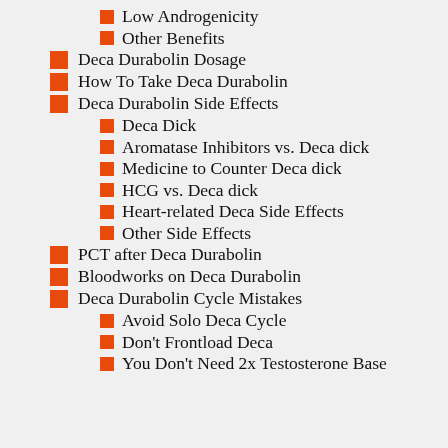Low Androgenicity
Other Benefits
Deca Durabolin Dosage
How To Take Deca Durabolin
Deca Durabolin Side Effects
Deca Dick
Aromatase Inhibitors vs. Deca dick
Medicine to Counter Deca dick
HCG vs. Deca dick
Heart-related Deca Side Effects
Other Side Effects
PCT after Deca Durabolin
Bloodworks on Deca Durabolin
Deca Durabolin Cycle Mistakes
Avoid Solo Deca Cycle
Don't Frontload Deca
You Don't Need 2x Testosterone Base